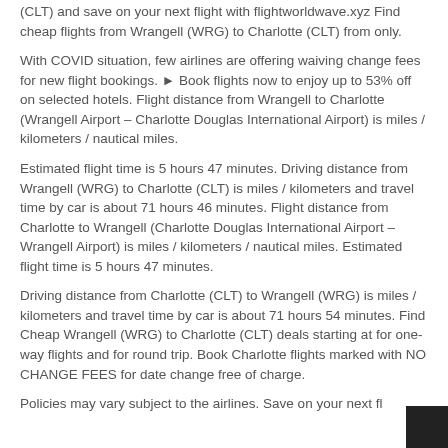(CLT) and save on your next flight with flightworldwave.xyz Find cheap flights from Wrangell (WRG) to Charlotte (CLT) from only.
With COVID situation, few airlines are offering waiving change fees for new flight bookings. ▶ Book flights now to enjoy up to 53% off on selected hotels. Flight distance from Wrangell to Charlotte (Wrangell Airport – Charlotte Douglas International Airport) is miles / kilometers / nautical miles.
Estimated flight time is 5 hours 47 minutes. Driving distance from Wrangell (WRG) to Charlotte (CLT) is miles / kilometers and travel time by car is about 71 hours 46 minutes. Flight distance from Charlotte to Wrangell (Charlotte Douglas International Airport – Wrangell Airport) is miles / kilometers / nautical miles. Estimated flight time is 5 hours 47 minutes.
Driving distance from Charlotte (CLT) to Wrangell (WRG) is miles / kilometers and travel time by car is about 71 hours 54 minutes. Find Cheap Wrangell (WRG) to Charlotte (CLT) deals starting at for one-way flights and for round trip. Book Charlotte flights marked with NO CHANGE FEES for date change free of charge.
Policies may vary subject to the airlines. Save on your next fl...